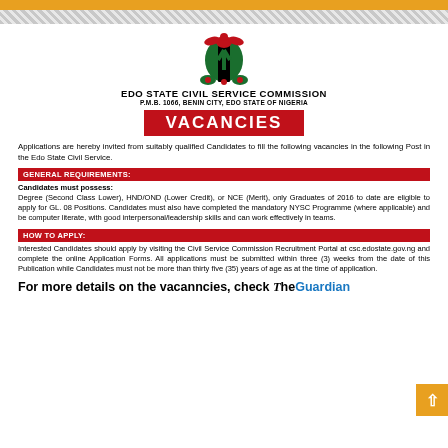EDO STATE CIVIL SERVICE COMMISSION | P.M.B. 1066, BENIN CITY, EDO STATE OF NIGERIA
VACANCIES
Applications are hereby invited from suitably qualified Candidates to fill the following vacancies in the following Post in the Edo State Civil Service.
GENERAL REQUIREMENTS:
Candidates must possess: Degree (Second Class Lower), HND/OND (Lower Credit), or NCE (Merit), only Graduates of 2016 to date are eligible to apply for GL. 08 Positions. Candidates must also have completed the mandatory NYSC Programme (where applicable) and be computer literate, with good interpersonal/leadership skills and can work effectively in teams.
HOW TO APPLY:
Interested Candidates should apply by visiting the Civil Service Commission Recruitment Portal at csc.edostate.gov.ng and complete the online Application Forms. All applications must be submitted within three (3) weeks from the date of this Publication while Candidates must not be more than thirty five (35) years of age as at the time of application.
For more details on the vacanncies, check The Guardian